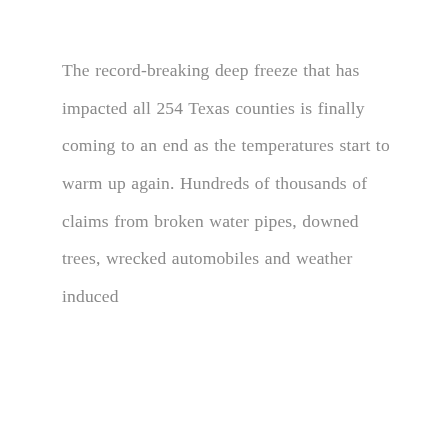The record-breaking deep freeze that has impacted all 254 Texas counties is finally coming to an end as the temperatures start to warm up again. Hundreds of thousands of claims from broken water pipes, downed trees, wrecked automobiles and weather induced